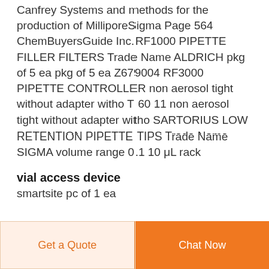Canfrey Systems and methods for the production of MilliporeSigma Page 564 ChemBuyersGuide Inc.RF1000 PIPETTE FILLER FILTERS Trade Name ALDRICH pkg of 5 ea pkg of 5 ea Z679004 RF3000 PIPETTE CONTROLLER non aerosol tight without adapter witho T 60 11 non aerosol tight without adapter witho SARTORIUS LOW RETENTION PIPETTE TIPS Trade Name SIGMA volume range 0.1 10 μL rack
vial access device
smartsite pc of 1 ea